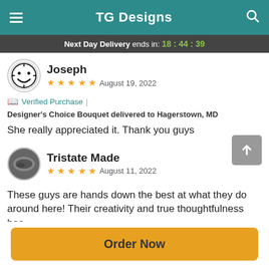TG Designs
Next Day Delivery ends in: 18:44:39
Joseph
★★★★★  August 19, 2022
Verified Purchase | Designer's Choice Bouquet delivered to Hagerstown, MD
She really appreciated it. Thank you guys
Tristate Made
★★★★★  August 11, 2022
These guys are hands down the best at what they do around here! Their creativity and true thoughtfulness has
Order Now